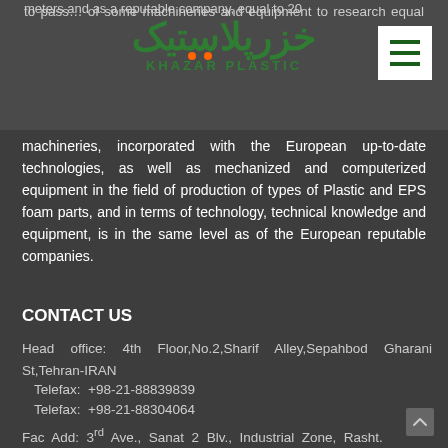Khazar Plastic - Logo and navigation header
meters, and as a reputable company, equipped with the best European machineries, incorporated with the European up-to-date technologies, as well as mechanized and computerized equipment in the field of production of types of Plastic and EPS foam parts, and in terms of technology, technical knowledge and equipment, is in the same level as of the European reputable companies.
CONTACT US
Head office: 4th Floor,No.2,Sharif Alley,Sepahbod Gharani St,Tehran-IRAN
Telefax: +98-21-88839839
Telefax: +98-21-88304064
Fac Add: 3rd Ave., Sanat 2 Blv., Industrial Zone, Rasht.